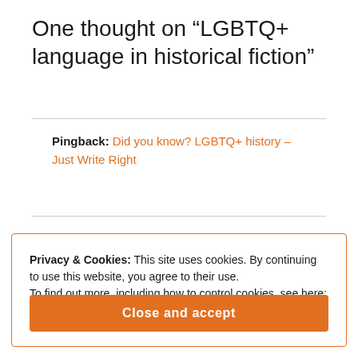One thought on “LGBTQ+ language in historical fiction”
Pingback: Did you know? LGBTQ+ history – Just Write Right
Privacy & Cookies: This site uses cookies. By continuing to use this website, you agree to their use.
To find out more, including how to control cookies, see here:
Cookie Policy
Close and accept